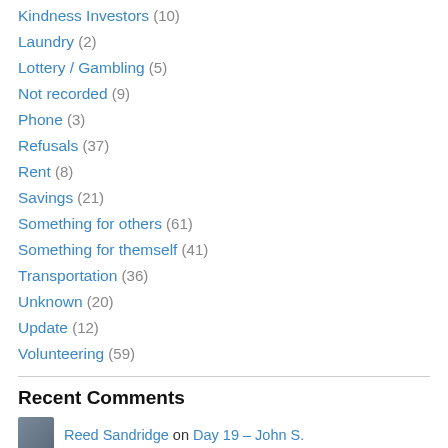Kindness Investors (10)
Laundry (2)
Lottery / Gambling (5)
Not recorded (9)
Phone (3)
Refusals (37)
Rent (8)
Savings (21)
Something for others (61)
Something for themself (41)
Transportation (36)
Unknown (20)
Update (12)
Volunteering (59)
Recent Comments
Reed Sandridge on Day 19 – John S.
Reed Sandridge on Day 22 – Garland I.